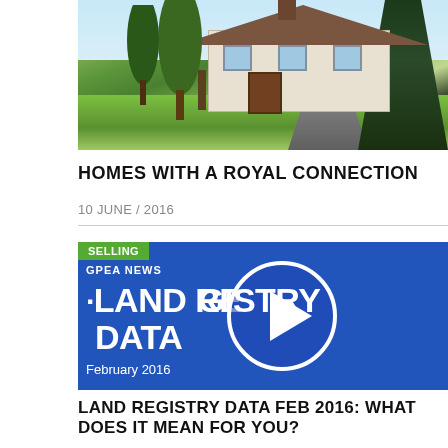[Figure (photo): Photograph of a residential house with large lawn, trees, and driveway]
HOMES WITH A ROYAL CONNECTION
10 JUNE / 2016
[Figure (screenshot): Video thumbnail for GPEA News - Land Registry Data February 2016 with play button, blue background and 'SELLING' badge]
LAND REGISTRY DATA FEB 2016: WHAT DOES IT MEAN FOR YOU?